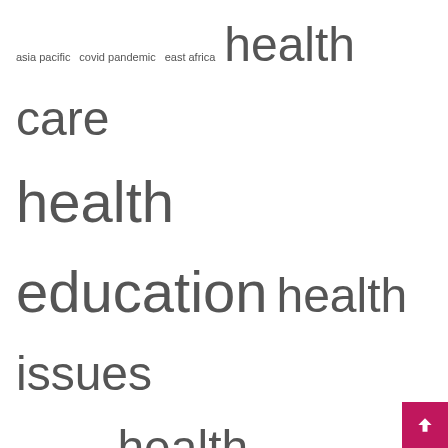[Figure (infographic): Tag cloud with health-related terms in varying font sizes: asia pacific, covid pandemic, east africa, health care, health education, health issues, health problems, health products, mental health, middle east, north america, products market, public health, united states, young people]
Recent Posts
What Is Medical-Based Financial Aid and How Do I Get It?
Promoting mental health education in schools – Kashmir Reader
How to better support young LGBTQ people struggling with mental heal…